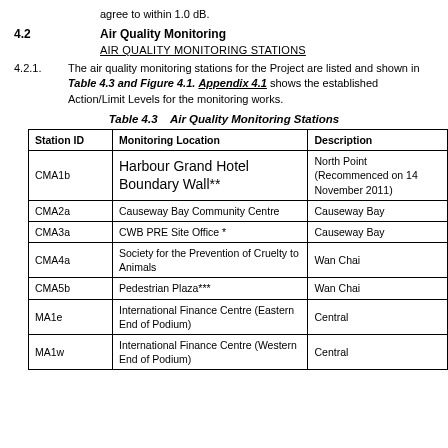agree to within 1.0 dB.
4.2    Air Quality Monitoring
AIR QUALITY MONITORING STATIONS
4.2.1.    The air quality monitoring stations for the Project are listed and shown in Table 4.3 and Figure 4.1. Appendix 4.1 shows the established Action/Limit Levels for the monitoring works.
Table 4.3    Air Quality Monitoring Stations
| Station ID | Monitoring Location | Description |
| --- | --- | --- |
| CMA1b | Harbour Grand Hotel Boundary Wall** | North Point (Recommenced on 14 November 2011) |
| CMA2a | Causeway Bay Community Centre | Causeway Bay |
| CMA3a | CWB PRE Site Office * | Causeway Bay |
| CMA4a | Society for the Prevention of Cruelty to Animals | Wan Chai |
| CMA5b | Pedestrian Plaza*** | Wan Chai |
| MA1e | International Finance Centre (Eastern End of Podium) | Central |
| MA1w | International Finance Centre (Western End of Podium) | Central |